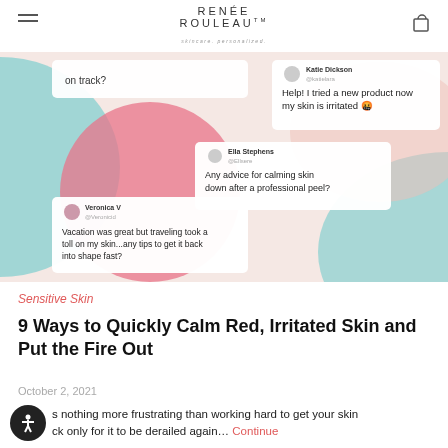RENÉE ROULEAU™ — skincare personalized
[Figure (illustration): Hero image showing social media style chat bubbles with skin concerns overlaid on a colorful abstract background (pink, teal, blush). Chat messages read: 'on track?', 'Help! I tried a new product now my skin is irritated', 'Any advice for calming skin down after a professional peel?', 'Vacation was great but traveling took a toll on my skin...any tips to get it back into shape fast?']
Sensitive Skin
9 Ways to Quickly Calm Red, Irritated Skin and Put the Fire Out
October 2, 2021
There is nothing more frustrating than working hard to get your skin on track only for it to be derailed again… Continue